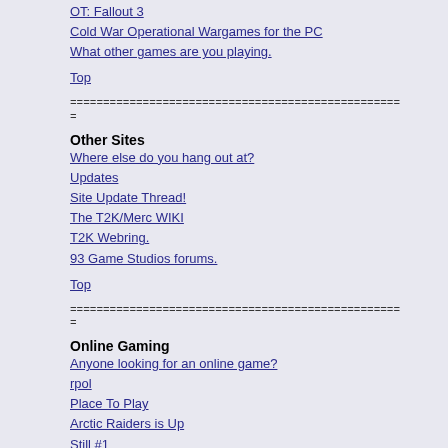OT: Fallout 3
Cold War Operational Wargames for the PC
What other games are you playing.
Top
==================================================
=
Other Sites
Where else do you hang out at?
Updates
Site Update Thread!
The T2K/Merc WIKI
T2K Webring.
93 Game Studios forums.
Top
==================================================
=
Online Gaming
Anyone looking for an online game?
rpol
Place To Play
Arctic Raiders is Up
Still #1
T2K Campaign recruiting drive...
Recruiting for my T2K PbP on RPoL